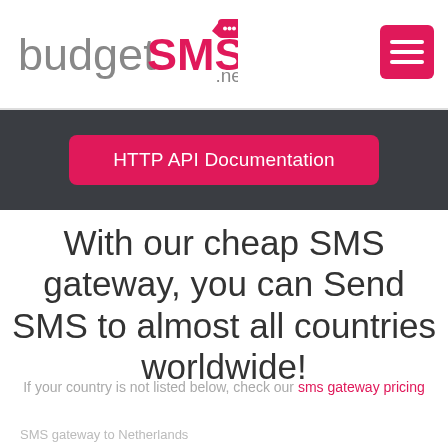[Figure (logo): budgetSMS.net logo with pink SMS chat bubble icon]
[Figure (other): Pink hamburger menu button with three horizontal lines]
HTTP API Documentation
With our cheap SMS gateway, you can Send SMS to almost all countries worldwide!
If your country is not listed below, check our sms gateway pricing
SMS gateway to Netherlands